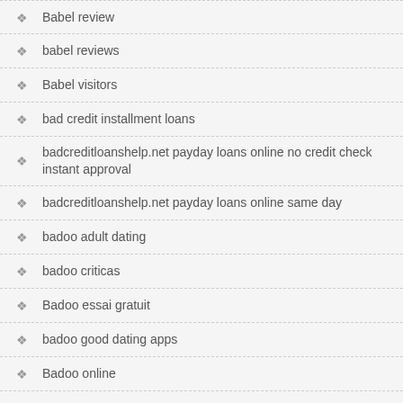Babel review
babel reviews
Babel visitors
bad credit installment loans
badcreditloanshelp.net payday loans online no credit check instant approval
badcreditloanshelp.net payday loans online same day
badoo adult dating
badoo criticas
Badoo essai gratuit
badoo good dating apps
Badoo online